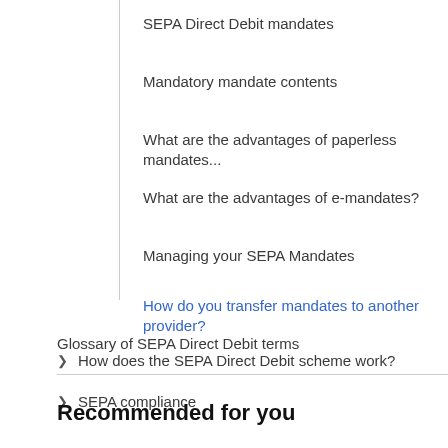SEPA Direct Debit mandates
Mandatory mandate contents
What are the advantages of paperless mandates...
What are the advantages of e-mandates?
Managing your SEPA Mandates
How do you transfer mandates to another provider?
How does the SEPA Direct Debit scheme work?
SEPA compliance
Glossary of SEPA Direct Debit terms
Recommended for you